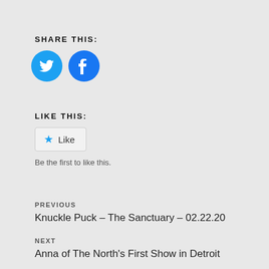SHARE THIS:
[Figure (illustration): Two circular social media share buttons: Twitter (blue bird icon) and Facebook (blue f icon)]
LIKE THIS:
[Figure (illustration): Like button with a blue star icon and the word Like]
Be the first to like this.
PREVIOUS
Knuckle Puck – The Sanctuary – 02.22.20
NEXT
Anna of The North's First Show in Detroit